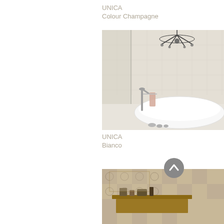UNICA
Colour Champagne
[Figure (photo): Elegant bathroom scene with a large freestanding white oval bathtub, chandelier overhead, neutral tiled walls, and floor-mounted faucet with pink towel draped over it]
UNICA
Bianco
[Figure (photo): Bathroom with decorative patterned tiles, wooden shelf/vanity with items, warm rustic style]